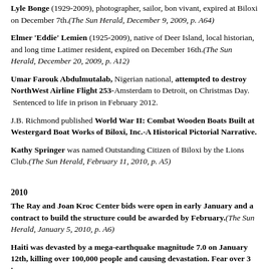Lyle Bonge (1929-2009), photographer, sailor, bon vivant, expired at Biloxi on December 7th.(The Sun Herald, December 9, 2009, p. A64)
Elmer 'Eddie' Lemien (1925-2009), native of Deer Island, local historian, and long time Latimer resident, expired on December 16th.(The Sun Herald, December 20, 2009, p. A12)
Umar Farouk Abdulmutalab, Nigerian national, attempted to destroy NorthWest Airline Flight 253-Amsterdam to Detroit, on Christmas Day. Sentenced to life in prison in February 2012.
J.B. Richmond published World War II: Combat Wooden Boats Built at Westergard Boat Works of Biloxi, Inc.-A Historical Pictorial Narrative.
Kathy Springer was named Outstanding Citizen of Biloxi by the Lions Club.(The Sun Herald, February 11, 2010, p. A5)
2010
The Ray and Joan Kroc Center bids were open in early January and a contract to build the structure could be awarded by February.(The Sun Herald, January 5, 2010, p. A6)
Haiti was devasted by a mega-earthquake magnitude 7.0 on January 12th, killing over 100,000 people and causing devastation. Fear over 3 in...